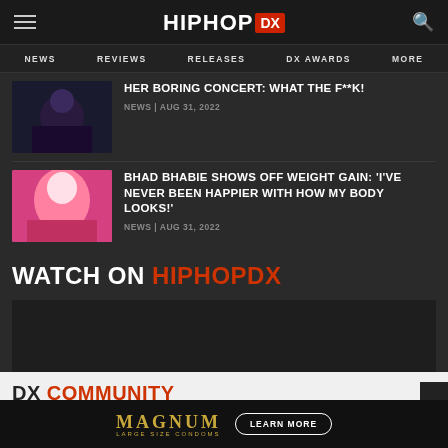HipHopDX
NEWS | REVIEWS | RELEASES | DX AWARDS | MORE
HER BORING CONCERT: WHAT THE F**K! | NEWS | AUG 31, 2022
BHAD BHABIE SHOWS OFF WEIGHT GAIN: 'I'VE NEVER BEEN HAPPIER WITH HOW MY BODY LOOKS!' | NEWS | AUG 31, 2022
WATCH ON HIPHOPDX
DX COMMUNITY
Be the F...
[Figure (advertisement): Magnum large size condoms advertisement with gold text and Learn More button]